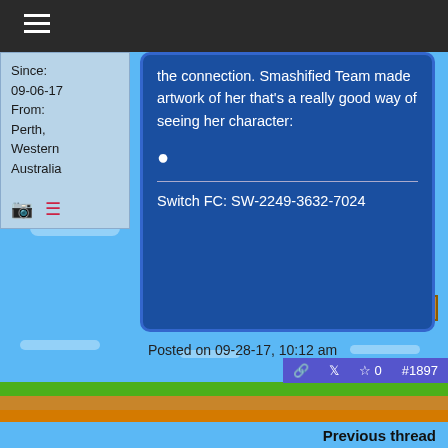Navigation menu (hamburger icon)
Since: 09-06-17
From: Perth, Western Australia
the connection. Smashified Team made artwork of her that's a really good way of seeing her character:
Switch FC: SW-2249-3632-7024
Posted on 09-28-17, 10:12 am
☆ 0  #1897
Previous thread